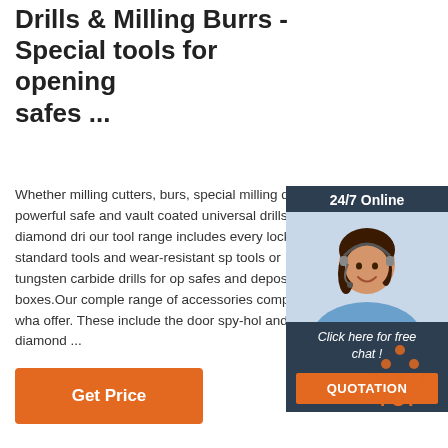Drills & Milling Burrs - Special tools for opening safes ...
Whether milling cutters, burs, special milling drills, powerful safe and vault coated universal drills or diamond drills, our tool range includes every locksmith standard tools and wear-resistant special tools or tungsten carbide drills for opening safes and deposit boxes.Our complete range of accessories completes what we offer. These include the door spy-hole and diamond ...
[Figure (infographic): 24/7 Online chat widget with a smiling woman wearing a headset, a 'Click here for free chat!' text, and an orange QUOTATION button]
[Figure (infographic): Orange dotted triangle TOP button graphic]
Get Price